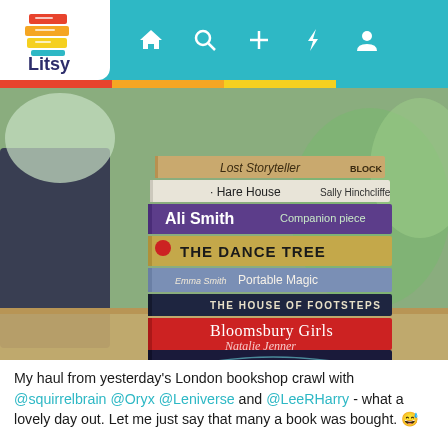[Figure (screenshot): Litsy app interface showing a stack of books photo. Books visible include: Lost Storyteller, Hare House by Sally Hinchcliffe, Companion piece by Ali Smith, The Dance Tree by Kiran Millwood Hargrave (Picador), Portable Magic by Emma Smith, The House of Footsteps by Mathew Gale, Bloomsbury Girls by Natalie Jenner, and a dark blue book at the bottom.]
My haul from yesterday's London bookshop crawl with @squirrelbrain @Oryx @Leniverse and @LeeRHarry - what a lovely day out. Let me just say that many a book was bought. 😅